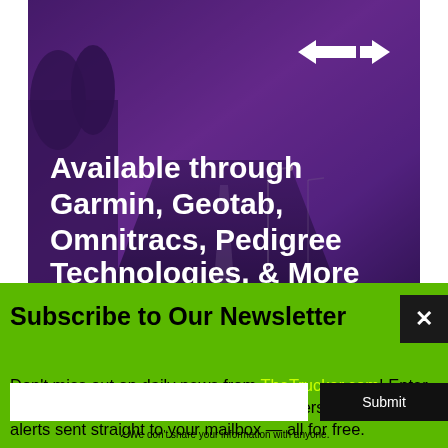[Figure (illustration): Purple-toned advertisement image with a road/highway background at dusk. Features a white arrow logo (resembling a 'T' or GPS arrow icon) in the upper right. Bold white text reads: 'Available through Garmin, Geotab, Omnitracs, Pedigree Technologies, & More']
Subscribe to Our Newsletter
Don't miss out on daily news from TheTrucker.com! Enter your email address to have our newsletters and email alerts sent straight to your mailbox — all for free.
✓ We don't share your information with anyone.